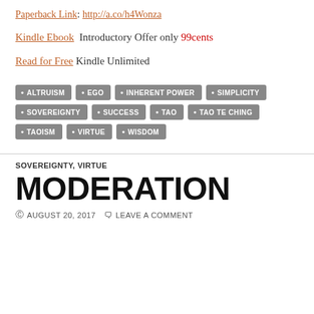Paperback Link: http://a.co/h4Wonza
Kindle Ebook  Introductory Offer only 99cents
Read for Free Kindle Unlimited
ALTRUISM • EGO • INHERENT POWER • SIMPLICITY • SOVEREIGNTY • SUCCESS • TAO • TAO TE CHING • TAOISM • VIRTUE • WISDOM
SOVEREIGNTY, VIRTUE
MODERATION
AUGUST 20, 2017   LEAVE A COMMENT